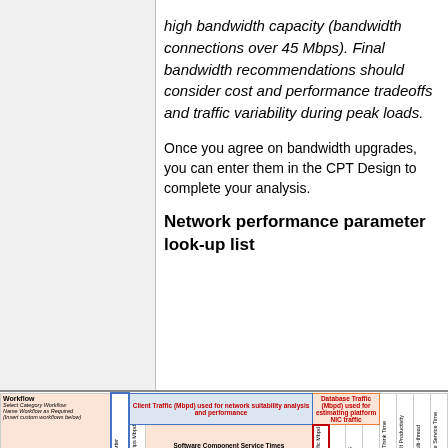high bandwidth capacity (bandwidth connections over 45 Mbps). Final bandwidth recommendations should consider cost and performance tradeoffs and traffic variability during peak loads.
Once you agree on bandwidth upgrades, you can enter them in the CPT Design to complete your analysis.
Network performance parameter look-up list
[Figure (table-as-image): Network performance parameter look-up table showing Client Traffic (Mbpd) and Database Traffic (Mbpd) columns, Software Component Service Times, Design Model Metrics, and various workflow rows including Select Category Workflow, Name Workflow as Required, Insert custom workflows below.]